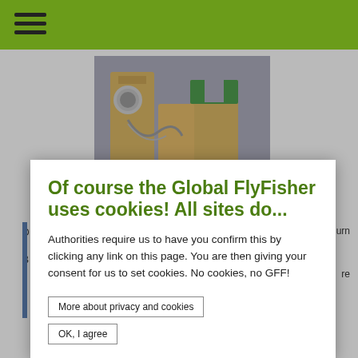Global FlyFisher website header with hamburger menu
[Figure (photo): Wooden fly tying tools/vises on a gray surface, with metal components and green accents]
D... urn s... B... u... re c...
Of course the Global FlyFisher uses cookies! All sites do...
Authorities require us to have you confirm this by clicking any link on this page. You are then giving your consent for us to set cookies. No cookies, no GFF!
More about privacy and cookies
OK, I agree